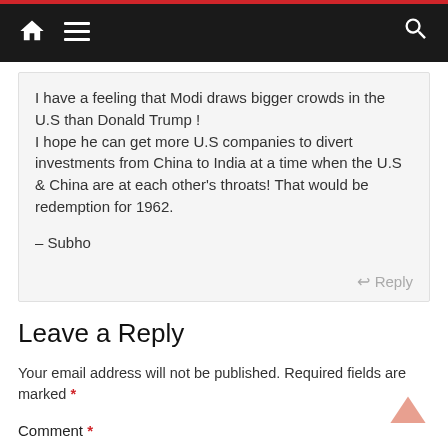Navigation bar with home, menu, and search icons
I have a feeling that Modi draws bigger crowds in the U.S than Donald Trump !
I hope he can get more U.S companies to divert investments from China to India at a time when the U.S & China are at each other's throats! That would be redemption for 1962.

– Subho
Reply
Leave a Reply
Your email address will not be published. Required fields are marked *
Comment *